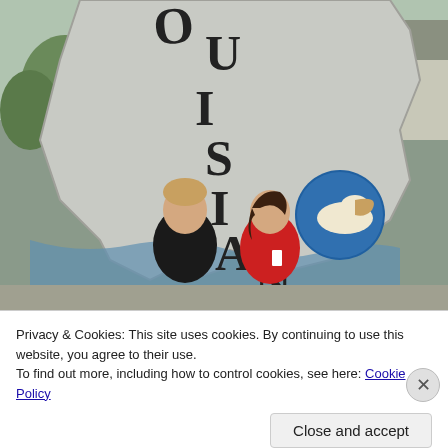[Figure (photo): Two people posing in front of a large Louisiana state-shaped sign/sculpture. The sign has the letters O, U, I, S, I, A, N, A and a pelican emblem. Trees and a building are visible in background.]
Privacy & Cookies: This site uses cookies. By continuing to use this website, you agree to their use.
To find out more, including how to control cookies, see here: Cookie Policy
Close and accept
Follow ...